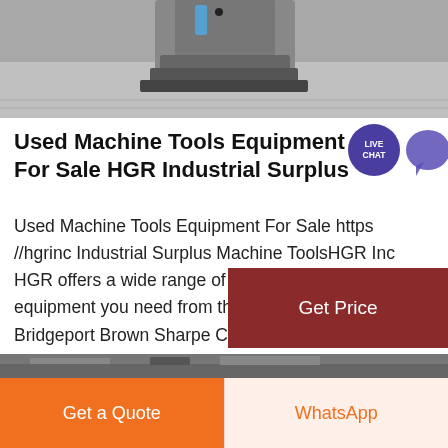[Figure (photo): Photo of industrial machine tool equipment on a carpet/floor surface, partially cropped at top of page]
Used Machine Tools Equipment For Sale HGR Industrial Surplus
Used Machine Tools Equipment For Sale https //hgrinc Industrial Surplus Machine ToolsHGR Inc HGR offers a wide range of used machine tools all the equipment you need from the leading brands like Bridgeport Brown Sharpe Cincinnati Cazenueve Hardinge Lodge Shipley Nortorn Clausing and more.
[Figure (photo): Partial bottom strip photo of industrial equipment, heavily cropped]
Get Price
Get a Quote
WhatsApp